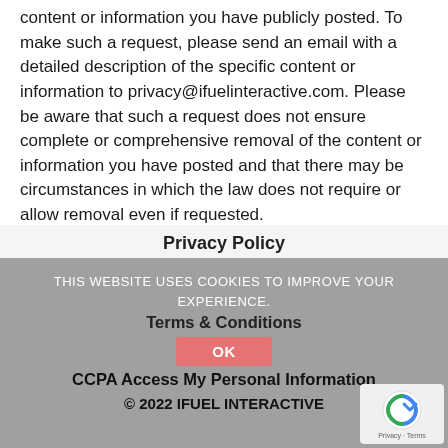content or information you have publicly posted. To make such a request, please send an email with a detailed description of the specific content or information to privacy@ifuelinteractive.com. Please be aware that such a request does not ensure complete or comprehensive removal of the content or information you have posted and that there may be circumstances in which the law does not require or allow removal even if requested.
Privacy Policy
THIS WEBSITE USES COOKIES TO IMPROVE YOUR EXPERIENCE.
Terms & Conditions
CCPA Access My Personal Information
OK
© 2022 IFUEL INTERACTIVE